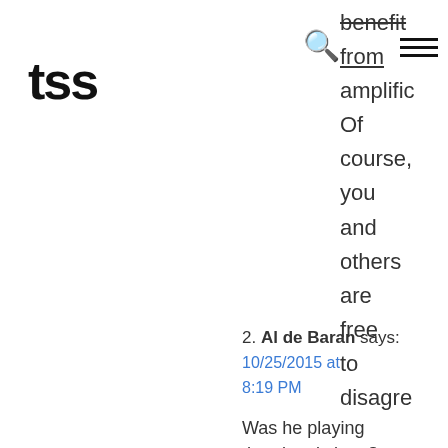tss
benefit from amplific... Of course, you and others are free to disagre...
2. Al de Baran says: 10/25/2015 at 8:19 PM

Was he playing the electric koto?